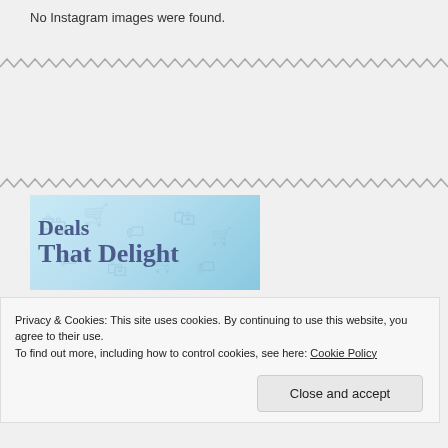No Instagram images were found.
[Figure (illustration): Decorative zigzag/wave divider line]
[Figure (illustration): Decorative zigzag/wave divider line]
[Figure (illustration): Advertisement banner with light blue background showing shopping bag icons and text 'Deals That Delight']
Privacy & Cookies: This site uses cookies. By continuing to use this website, you agree to their use.
To find out more, including how to control cookies, see here: Cookie Policy
Close and accept